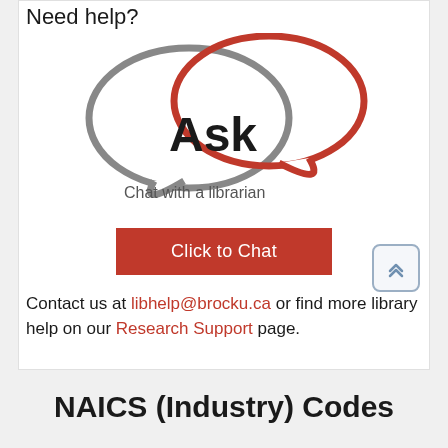Need help?
[Figure (logo): Ask - Chat with a librarian logo: two speech bubbles (grey and red) overlapping, with text 'Ask' in bold black and 'Chat with a librarian' below]
[Figure (other): Red 'Click to Chat' button]
Contact us at libhelp@brocku.ca or find more library help on our Research Support page.
NAICS (Industry) Codes